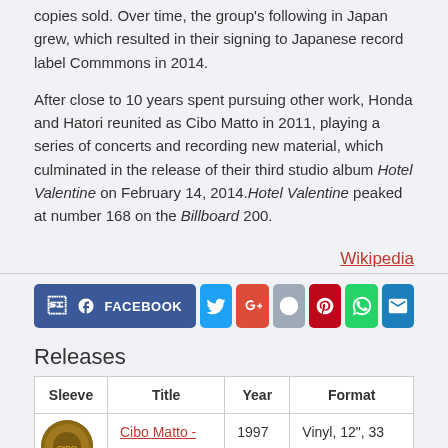copies sold. Over time, the group's following in Japan grew, which resulted in their signing to Japanese record label Commmons in 2014.
After close to 10 years spent pursuing other work, Honda and Hatori reunited as Cibo Matto in 2011, playing a series of concerts and recording new material, which culminated in the release of their third studio album Hotel Valentine on February 14, 2014. Hotel Valentine peaked at number 168 on the Billboard 200.
Wikipedia
[Figure (infographic): Social sharing buttons: Facebook, Twitter, Google+, Reddit, Pinterest, WhatsApp, Email]
Releases
| Sleeve | Title | Year | Format |
| --- | --- | --- | --- |
| [album art] | Cibo Matto - | 1997 | Vinyl, 12", 33 |